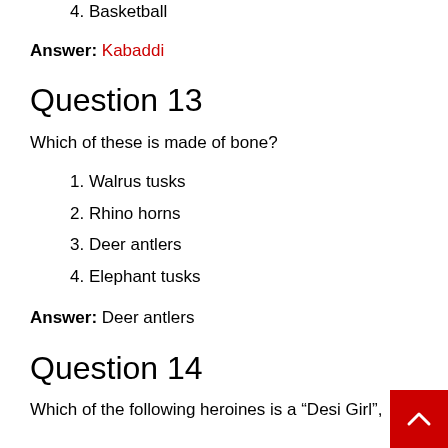4. Basketball
Answer: Kabaddi
Question 13
Which of these is made of bone?
1. Walrus tusks
2. Rhino horns
3. Deer antlers
4. Elephant tusks
Answer: Deer antlers
Question 14
Which of the following heroines is a “Desi Girl”,